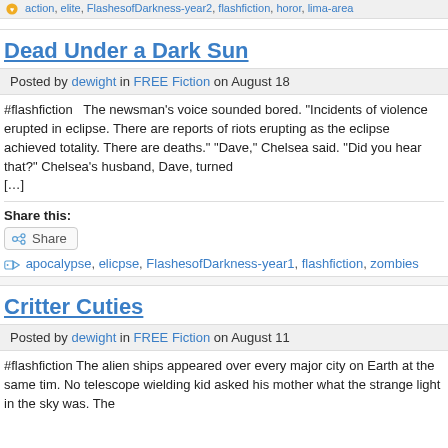action, elite, FlashesofDarkness-year2, flashfiction, horor, lima-area
Dead Under a Dark Sun
Posted by dewight in FREE Fiction on August 18
#flashfiction   The newsman's voice sounded bored. "Incidents of violence erupted in eclipse. There are reports of riots erupting as the eclipse achieved totality. There are deaths." "Dave," Chelsea said. "Did you hear that?" Chelsea's husband, Dave, turned […]
Share this:
Share
apocalypse, elicpse, FlashesofDarkness-year1, flashfiction, zombies
Critter Cuties
Posted by dewight in FREE Fiction on August 11
#flashfiction The alien ships appeared over every major city on Earth at the same tim. No telescope wielding kid asked his mother what the strange light in the sky was. The […]